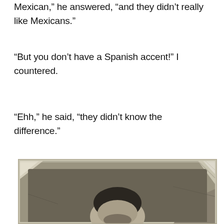Mexican,” he answered, “and they didn’t really like Mexicans.”
“But you don’t have a Spanish accent!” I countered.
“Ehh,” he said, “they didn’t know the difference.”
[Figure (photo): Old worn black-and-white portrait photograph of a person, showing the top of their head and beginning of their face, with visible creases and damage to the photo corners and edges.]